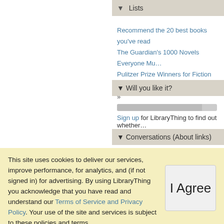▼ Lists
Recommend the 20 best books you've read
The Guardian's 1000 Novels Everyone Mu...
Pulitzer Prize Winners for Fiction (6)
» 57 more
▼ Will you like it?
Sign up for LibraryThing to find out whether...
▼ Conversations (About links)
This site uses cookies to deliver our services, improve performance, for analytics, and (if not signed in) for advertising. By using LibraryThing you acknowledge that you have read and understand our Terms of Service and Privacy Policy. Your use of the site and services is subject to these policies and terms.
I Agree